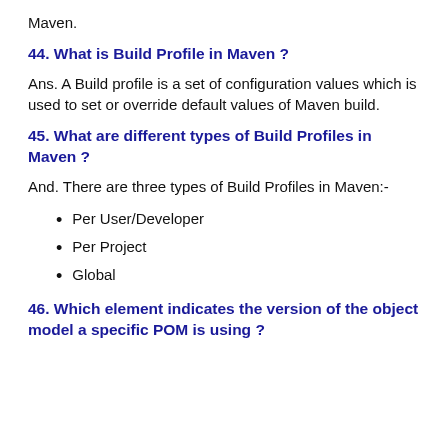Maven.
44. What is Build Profile in Maven ?
Ans. A Build profile is a set of configuration values which is used to set or override default values of Maven build.
45. What are different types of Build Profiles in Maven ?
And. There are three types of Build Profiles in Maven:-
Per User/Developer
Per Project
Global
46. Which element indicates the version of the object model a specific POM is using ?